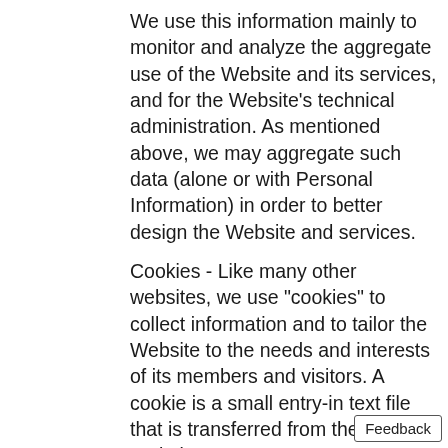We use this information mainly to monitor and analyze the aggregate use of the Website and its services, and for the Website’s technical administration. As mentioned above, we may aggregate such data (alone or with Personal Information) in order to better design the Website and services.
Cookies - Like many other websites, we use "cookies" to collect information and to tailor the Website to the needs and interests of its members and visitors. A cookie is a small entry-in text file that is transferred from the Website's servers to your computer’s hard drive, and uniquely identifies your